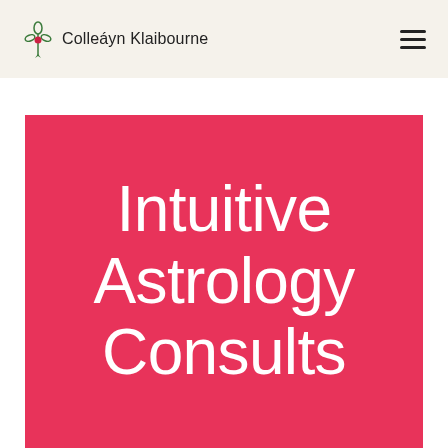Colleáyn Klaibourne
Intuitive Astrology Consults